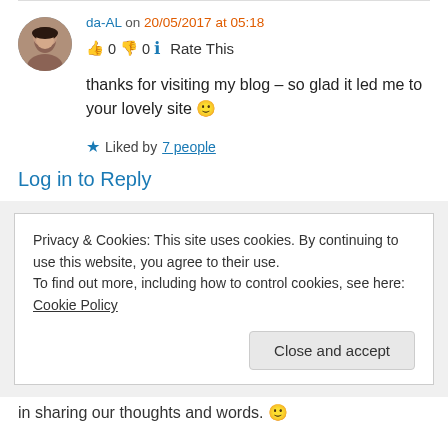[Figure (photo): User avatar photo of da-AL, a woman with dark hair]
da-AL on 20/05/2017 at 05:18
👍 0 👎 0 ℹ Rate This
thanks for visiting my blog – so glad it led me to your lovely site 🙂
★ Liked by 7 people
Log in to Reply
Privacy & Cookies: This site uses cookies. By continuing to use this website, you agree to their use.
To find out more, including how to control cookies, see here: Cookie Policy
Close and accept
in sharing our thoughts and words. 🙂